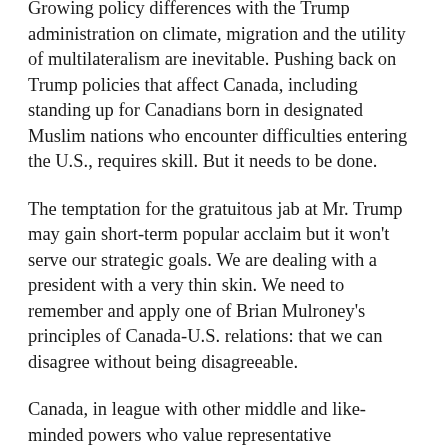Growing policy differences with the Trump administration on climate, migration and the utility of multilateralism are inevitable. Pushing back on Trump policies that affect Canada, including standing up for Canadians born in designated Muslim nations who encounter difficulties entering the U.S., requires skill. But it needs to be done.
The temptation for the gratuitous jab at Mr. Trump may gain short-term popular acclaim but it won't serve our strategic goals. We are dealing with a president with a very thin skin. We need to remember and apply one of Brian Mulroney's principles of Canada-U.S. relations: that we can disagree without being disagreeable.
Canada, in league with other middle and like-minded powers who value representative government, human rights, and freer trade, needs to again step up and reassert our interests in sustaining and preserving our rules-based system.
In a practical sense, this means working in tandem with our European and Pacific partners. It means finding niches